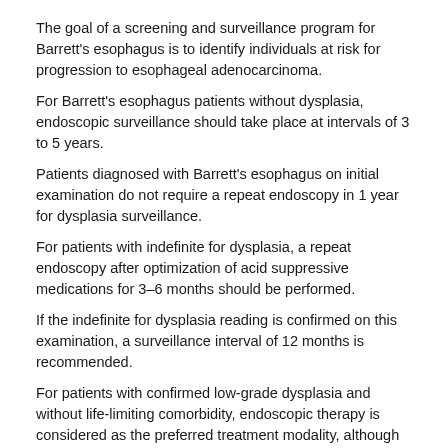The goal of a screening and surveillance program for Barrett's esophagus is to identify individuals at risk for progression to esophageal adenocarcinoma.
For Barrett's esophagus patients without dysplasia, endoscopic surveillance should take place at intervals of 3 to 5 years.
Patients diagnosed with Barrett's esophagus on initial examination do not require a repeat endoscopy in 1 year for dysplasia surveillance.
For patients with indefinite for dysplasia, a repeat endoscopy after optimization of acid suppressive medications for 3–6 months should be performed.
If the indefinite for dysplasia reading is confirmed on this examination, a surveillance interval of 12 months is recommended.
For patients with confirmed low-grade dysplasia and without life-limiting comorbidity, endoscopic therapy is considered as the preferred treatment modality, although endoscopic surveillance every 12 months is an acceptable alternative.
Patients with Barrett's esophagus and confirmed high-grade